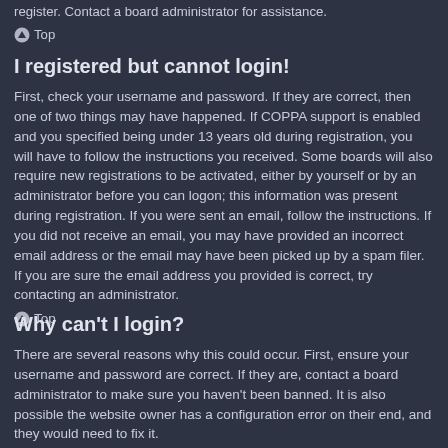register. Contact a board administrator for assistance.
Top
I registered but cannot login!
First, check your username and password. If they are correct, then one of two things may have happened. If COPPA support is enabled and you specified being under 13 years old during registration, you will have to follow the instructions you received. Some boards will also require new registrations to be activated, either by yourself or by an administrator before you can logon; this information was present during registration. If you were sent an email, follow the instructions. If you did not receive an email, you may have provided an incorrect email address or the email may have been picked up by a spam filer. If you are sure the email address you provided is correct, try contacting an administrator.
Top
Why can't I login?
There are several reasons why this could occur. First, ensure your username and password are correct. If they are, contact a board administrator to make sure you haven't been banned. It is also possible the website owner has a configuration error on their end, and they would need to fix it.